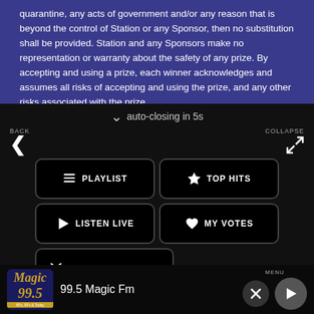quarantine, any acts of government and/or any reason that is beyond the control of Station or any Sponsor, then no substitution shall be provided. Station and any Sponsors make no representation or warranty about the safety of any prize. By accepting and using a prize, each winner acknowledges and assumes all risks of accepting and using the prize, and any other risks associated with the prize.
auto-closing in 5s
[Figure (screenshot): Radio app navigation panel with dark background. Contains BACK button with left arrow, COLLAPSE button with collapse icon. Four navigation buttons: PLAYLIST (list icon), TOP HITS (star icon), LISTEN LIVE (play icon), MY VOTES (heart icon), CONTROLS (scissors/tools icon). Data opt-out toggle switch. Station info: 99.5 Magic Fm. Bottom bar with Magic 99's logo, station name, MENU label, X button, play button.]